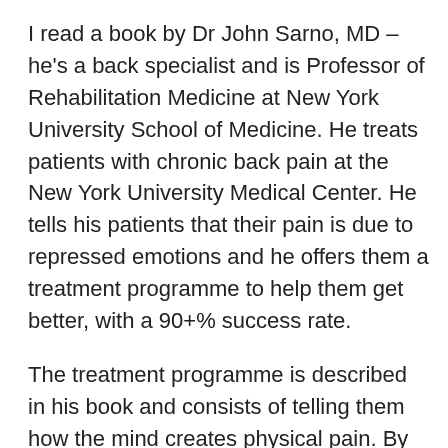I read a book by Dr John Sarno, MD – he's a back specialist and is Professor of Rehabilitation Medicine at New York University School of Medicine. He treats patients with chronic back pain at the New York University Medical Center. He tells his patients that their pain is due to repressed emotions and he offers them a treatment programme to help them get better, with a 90+% success rate.
The treatment programme is described in his book and consists of telling them how the mind creates physical pain. By understanding how this works, many patients get better. Others require psychotherapy, but also make a full recovery.
I'm sure I'm not telling you anything new by saying that physical conditions can be caused by psychological issues